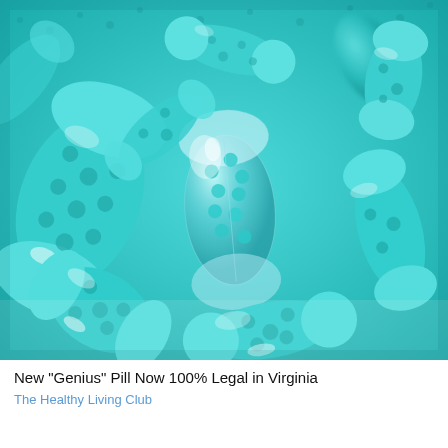[Figure (photo): Close-up macro photograph of multiple teal/turquoise colored capsule pills with a clear gel cap casing, scattered together. The capsules contain small blue-green granules/beads inside. One capsule in the center has a transparent clear cap showing the blue beads within.]
New "Genius" Pill Now 100% Legal in Virginia
The Healthy Living Club